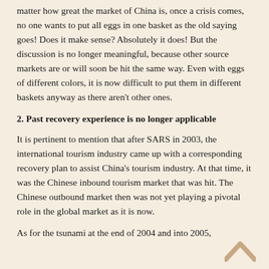matter how great the market of China is, once a crisis comes, no one wants to put all eggs in one basket as the old saying goes! Does it make sense? Absolutely it does! But the discussion is no longer meaningful, because other source markets are or will soon be hit the same way. Even with eggs of different colors, it is now difficult to put them in different baskets anyway as there aren't other ones.
2. Past recovery experience is no longer applicable
It is pertinent to mention that after SARS in 2003, the international tourism industry came up with a corresponding recovery plan to assist China's tourism industry. At that time, it was the Chinese inbound tourism market that was hit. The Chinese outbound market then was not yet playing a pivotal role in the global market as it is now.
As for the tsunami at the end of 2004 and into 2005,